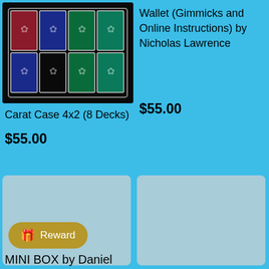[Figure (photo): Product photo of Carat Case 4x2 (8 Decks) — a transparent acrylic box holding 8 playing card decks in red, blue, green, and teal colors arranged in a 4x2 grid]
Carat Case 4x2 (8 Decks)
$55.00
Wallet (Gimmicks and Online Instructions) by Nicholas Lawrence
$55.00
[Figure (other): Product placeholder image for MINI BOX by Daniel (lower left)]
[Figure (other): Product placeholder image (lower right)]
Reward
MINI BOX by Daniel